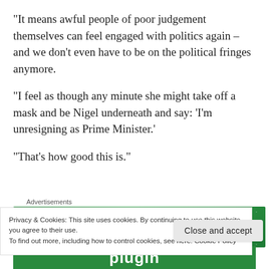“It means awful people of poor judgement themselves can feel engaged with politics again – and we don’t even have to be on the political fringes anymore.
“I feel as though any minute she might take off a mask and be Nigel underneath and say: ‘I’m unresigning as Prime Minister.’
“That’s how good this is.”
Advertisements
[Figure (other): Green advertisement banner with circular logo icon and text, partially obscured by cookie consent overlay]
Privacy & Cookies: This site uses cookies. By continuing to use this website, you agree to their use.
To find out more, including how to control cookies, see here: Cookie Policy
Close and accept
[Figure (other): Green banner with bold white text reading 'plugin']